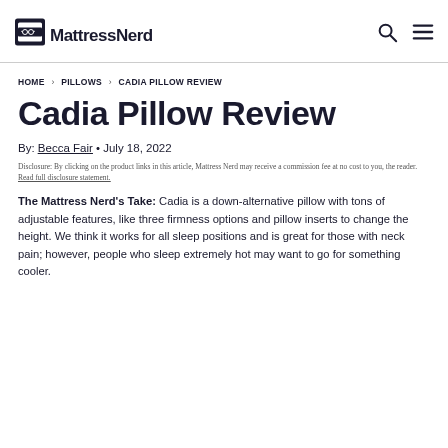Mattress Nerd
HOME › PILLOWS › CADIA PILLOW REVIEW
Cadia Pillow Review
By: Becca Fair • July 18, 2022
Disclosure: By clicking on the product links in this article, Mattress Nerd may receive a commission fee at no cost to you, the reader. Read full disclosure statement.
The Mattress Nerd's Take: Cadia is a down-alternative pillow with tons of adjustable features, like three firmness options and pillow inserts to change the height. We think it works for all sleep positions and is great for those with neck pain; however, people who sleep extremely hot may want to go for something cooler.